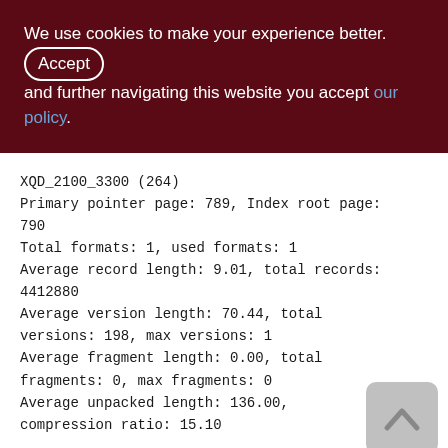We use cookies to make your experience better. By accepting and further navigating this website you accept our policy.
XQD_2100_3300 (264)
Primary pointer page: 789, Index root page: 790
Total formats: 1, used formats: 1
Average record length: 9.01, total records: 4412880
Average version length: 70.44, total versions: 198, max versions: 1
Average fragment length: 0.00, total fragments: 0, max fragments: 0
Average unpacked length: 136.00, compression ratio: 15.10